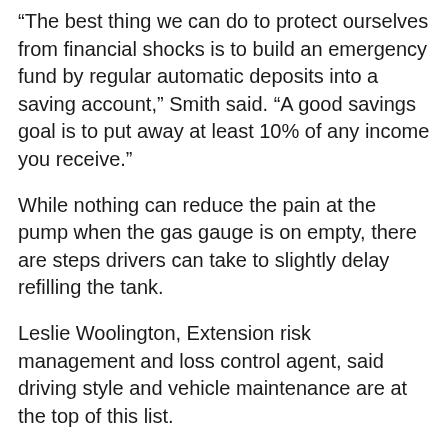“The best thing we can do to protect ourselves from financial shocks is to build an emergency fund by regular automatic deposits into a saving account,” Smith said. “A good savings goal is to put away at least 10% of any income you receive.”
While nothing can reduce the pain at the pump when the gas gauge is on empty, there are steps drivers can take to slightly delay refilling the tank.
Leslie Woolington, Extension risk management and loss control agent, said driving style and vehicle maintenance are at the top of this list.
“The amount of fuel an engine uses has to do with engine tuning, which deals with components like spark plugs, injectors and wires,” Woolington said. “Old or damaged components that play a role in meeting an engine’s ideal fuel, air and spark ratio can affect fuel